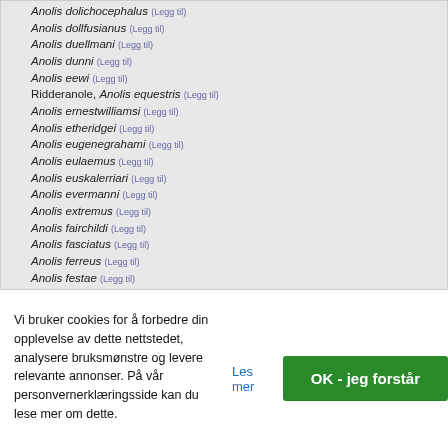Anolis dolichocephalus (Legg til)
Anolis dollfusianus (Legg til)
Anolis duellmani (Legg til)
Anolis dunni (Legg til)
Anolis eewi (Legg til)
Ridderanole, Anolis equestris (Legg til)
Anolis ernestwilliamsi (Legg til)
Anolis etheridgei (Legg til)
Anolis eugenegrahami (Legg til)
Anolis eulaemus (Legg til)
Anolis euskalerriari (Legg til)
Anolis evermanni (Legg til)
Anolis extremus (Legg til)
Anolis fairchildi (Legg til)
Anolis fasciatus (Legg til)
Anolis ferreus (Legg til)
Anolis festae (Legg til)
Anolis fitchi (Legg til)
Anolis forbesorum (Legg til)
Vi bruker cookies for å forbedre din opplevelse av dette nettstedet, analysere bruksmønstre og levere relevante annonser. På vår personvernerklæringsside kan du lese mer om dette.